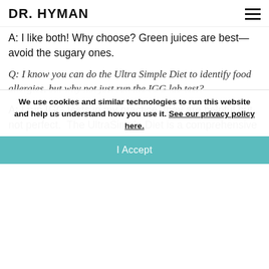DR. HYMAN
A: I like both! Why choose? Green juices are best—avoid the sugary ones.
Q: I know you can do the Ultra Simple Diet to identify food allergies, but why not just run the IGG lab test?
A: I run IGG tests in my practice, they are helpful but not perfect.  The UltraSimple Diet is a comprehensive elimination diet—the gold standard for identifying food allergies.
We use cookies and similar technologies to run this website and help us understand how you use it. See our privacy policy here.
I Accept